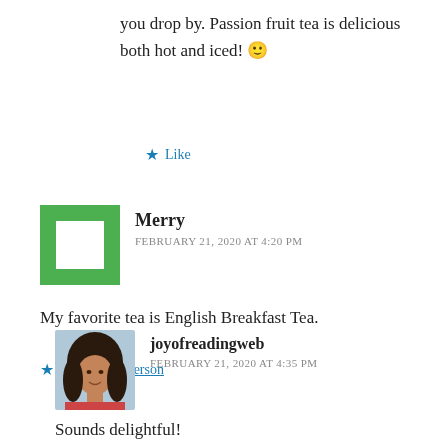you drop by. Passion fruit tea is delicious both hot and iced! 🙂
★ Like
[Figure (illustration): Green decorative square avatar with jagged/spiky border pattern]
Merry
FEBRUARY 21, 2020 AT 4:20 PM
My favorite tea is English Breakfast Tea.
★ Liked by 1 person
[Figure (photo): Profile photo of a woman with dark curly hair, smiling]
joyofreadingweb
FEBRUARY 21, 2020 AT 4:35 PM
Sounds delightful!
★ Like